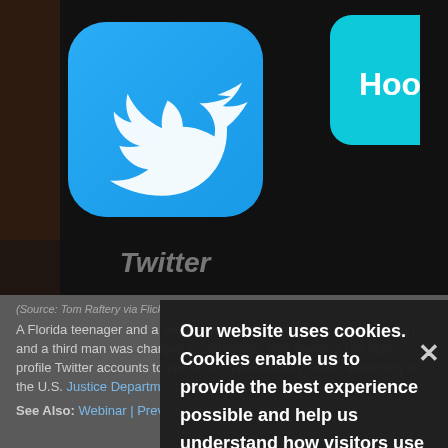[Figure (photo): Close-up photo of a smartphone screen showing the Twitter app icon (blue with white bird) and part of another app icon labeled 'Hoo' in the top right corner, on a dark background]
(Source: Tom Raftery via Flickr/CC)
A Florida teenager and a second unidentified individual were arrested and a third man was charged in connection with hacking 130 high-profile Twitter accounts to pull off a cryptocurrency scam, according to the U.S. Justice Department and Florida prosecutors.
See Also: Webinar | Prevent, Detect & Restore Data
Our website uses cookies. Cookies enable us to provide the best experience possible and help us understand how visitors use our website. By browsing healthcareinfosecurity.com, you agree to our use of cookies.